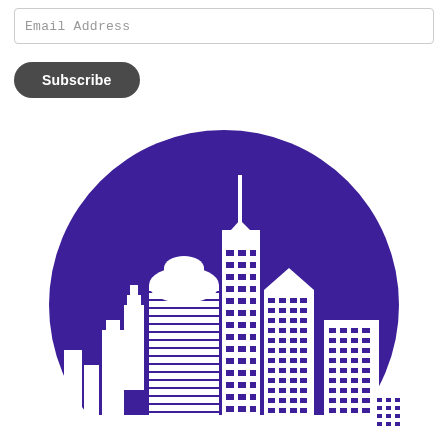Email Address
Subscribe
[Figure (illustration): White city skyline silhouette with tall buildings and skyscrapers on a purple circular background]